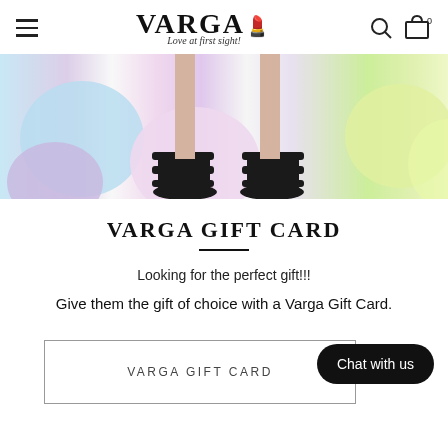VARGA – Love at first sight! [navigation bar with hamburger menu, logo, search icon, cart icon with 0]
[Figure (photo): Hero banner showing black strappy heels among pastel colored balloons (blue, pink, purple, yellow-green) on a white background]
VARGA GIFT CARD
Looking for the perfect gift!!!
Give them the gift of choice with a Varga Gift Card.
VARGA GIFT CARD
Chat with us